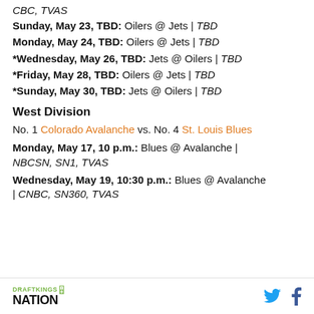CBC, TVAS
Sunday, May 23, TBD: Oilers @ Jets | TBD
Monday, May 24, TBD: Oilers @ Jets | TBD
*Wednesday, May 26, TBD: Jets @ Oilers | TBD
*Friday, May 28, TBD: Oilers @ Jets | TBD
*Sunday, May 30, TBD: Jets @ Oilers | TBD
West Division
No. 1 Colorado Avalanche vs. No. 4 St. Louis Blues
Monday, May 17, 10 p.m.: Blues @ Avalanche | NBCSN, SN1, TVAS
Wednesday, May 19, 10:30 p.m.: Blues @ Avalanche | CNBC, SN360, TVAS
DraftKings Nation